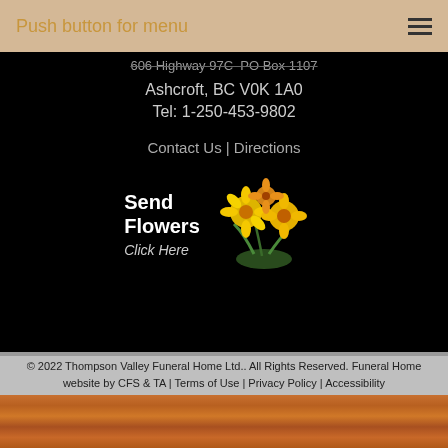Push button for menu
606 Highway 97C  PO Box 1107
Ashcroft, BC V0K 1A0
Tel: 1-250-453-9802
Contact Us | Directions
[Figure (illustration): Send Flowers bouquet illustration with yellow and orange flowers, text reads: Send Flowers Click Here]
© 2022 Thompson Valley Funeral Home Ltd.. All Rights Reserved. Funeral Home website by CFS & TA | Terms of Use | Privacy Policy | Accessibility